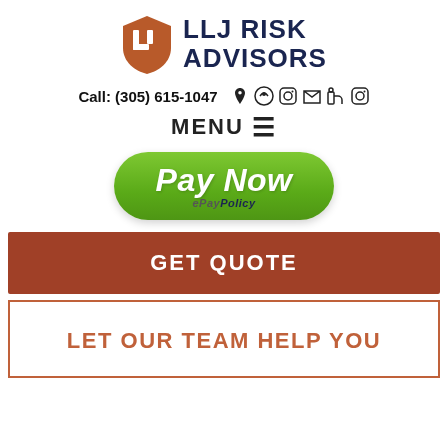[Figure (logo): LLJ Risk Advisors logo with orange shield icon and dark navy text]
Call: (305) 615-1047
[Figure (infographic): Social media icons: location pin, Yelp, Facebook, Twitter, LinkedIn, Instagram]
MENU ≡
[Figure (screenshot): Green Pay Now button with ePayPolicy branding]
GET QUOTE
LET OUR TEAM HELP YOU